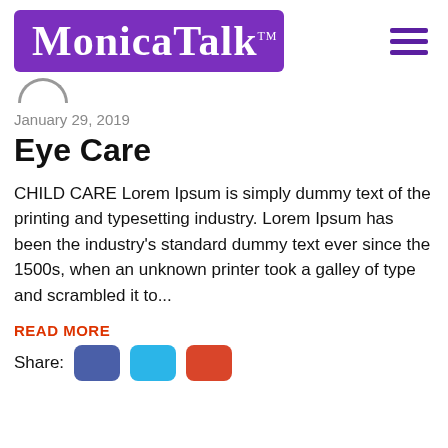[Figure (logo): MonicaTalk logo — white script text on purple rounded rectangle background, with TM mark. Hamburger menu icon (3 purple lines) to the right.]
[Figure (illustration): Small avatar arc/silhouette icon]
January 29, 2019
Eye Care
CHILD CARE Lorem Ipsum is simply dummy text of the printing and typesetting industry. Lorem Ipsum has been the industry's standard dummy text ever since the 1500s, when an unknown printer took a galley of type and scrambled it to...
READ MORE
Share: